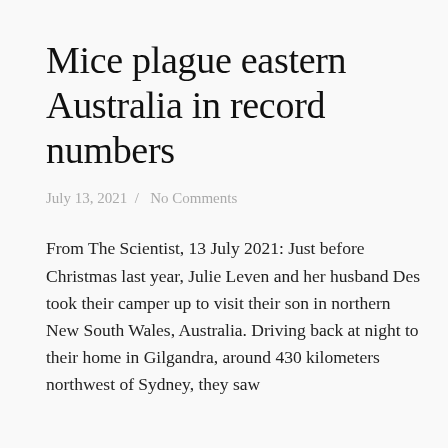Mice plague eastern Australia in record numbers
July 13, 2021  /  No Comments
From The Scientist, 13 July 2021: Just before Christmas last year, Julie Leven and her husband Des took their camper up to visit their son in northern New South Wales, Australia. Driving back at night to their home in Gilgandra, around 430 kilometers northwest of Sydney, they saw